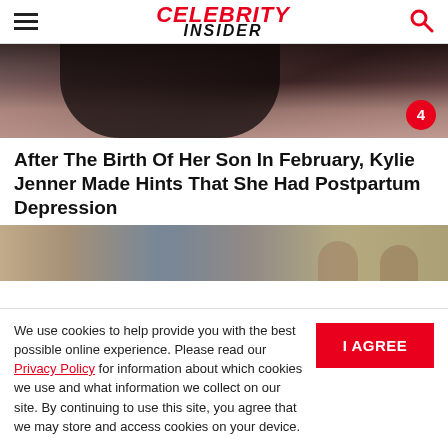Celebrity Insider
[Figure (photo): Close-up photo of a woman with dark hair, partially visible face showing nose and lips area]
After The Birth Of Her Son In February, Kylie Jenner Made Hints That She Had Postpartum Depression
[Figure (photo): Screenshot of a TV show or video with people in a room with wooden shelving]
We use cookies to help provide you with the best possible online experience. Please read our Privacy Policy for information about which cookies we use and what information we collect on our site. By continuing to use this site, you agree that we may store and access cookies on your device.